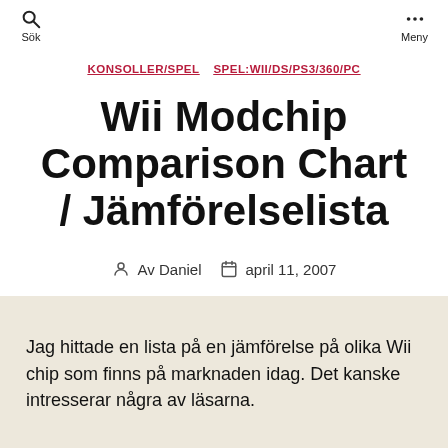Sök  Meny
KONSOLLER/SPEL  SPEL:WII/DS/PS3/360/PC
Wii Modchip Comparison Chart / Jämförelselista
Av Daniel  april 11, 2007
Jag hittade en lista på en jämförelse på olika Wii chip som finns på marknaden idag. Det kanske intresserar några av läsarna.